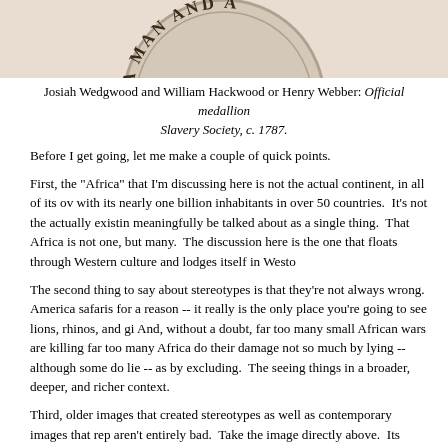[Figure (illustration): Partial view of a circular medallion/seal showing the text 'A MAN AND A' in decorative lettering, cropped at top of page.]
Josiah Wedgwood and William Hackwood or Henry Webber: Official medallion of the Society for Effecting the Abolition of Slavery Society, c. 1787.
Before I get going, let me make a couple of quick points.
First, the "Africa" that I'm discussing here is not the actual continent, in all of its overwhelming complexity, with its nearly one billion inhabitants in over 50 countries. It's not the actually existing Africa that cannot meaningfully be talked about as a single thing. That Africa is not one, but many. The Africa under discussion here is the one that floats through Western culture and lodges itself in Westo...
The second thing to say about stereotypes is that they're not always wrong. America goes to Africa for safaris for a reason -- it really is the only place you're going to see lions, rhinos, and gi... And, without a doubt, far too many small African wars are killing far too many Africa... do their damage not so much by lying -- although some do lie -- as by excluding. The... seeing things in a broader, deeper, and richer context.
Third, older images that created stereotypes as well as contemporary images that rep... aren't entirely bad. Take the image directly above. Its purpose was to build support w... movement to abolish the Atlantic slave trade. It goes without saying that this was one...